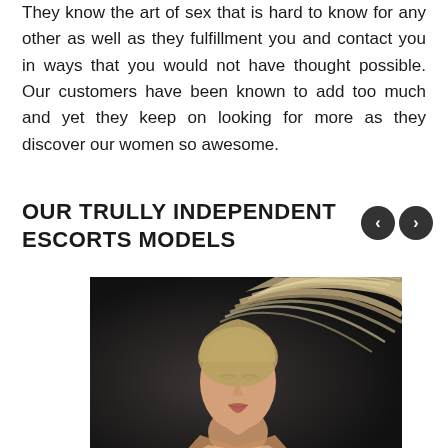They know the art of sex that is hard to know for any other as well as they fulfillment you and contact you in ways that you would not have thought possible. Our customers have been known to add too much and yet they keep on looking for more as they discover our women so awesome.
OUR TRULLY INDEPENDENT ESCORTS MODELS
[Figure (photo): A blonde woman with flowing hair tossed dramatically in the wind, photographed against a dark background in a glamour style.]